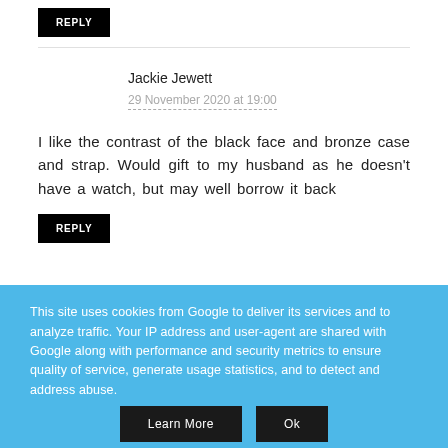REPLY
Jackie Jewett
29 November 2020 at 19:00
I like the contrast of the black face and bronze case and strap. Would gift to my husband as he doesn't have a watch, but may well borrow it back
REPLY
This site uses cookies from Google to deliver its services and to analyze traffic. Your IP address and user-agent are shared with Google along with performance and security metrics to ensure quality of service, generate usage statistics, and to detect and address abuse.
Learn More
Ok